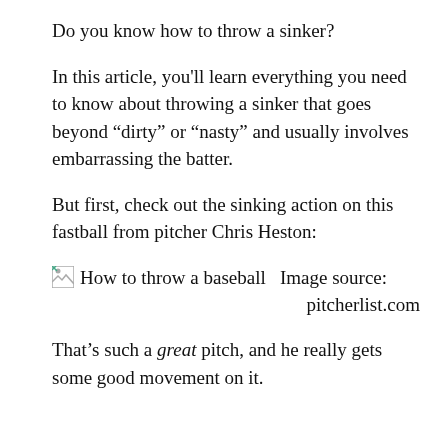Do you know how to throw a sinker?
In this article, you'll learn everything you need to know about throwing a sinker that goes beyond “dirty” or “nasty” and usually involves embarrassing the batter.
But first, check out the sinking action on this fastball from pitcher Chris Heston:
[Figure (photo): Broken image placeholder for a baseball image. Alt text: How to throw a baseball. Image source: pitcherlist.com]
That’s such a great pitch, and he really gets some good movement on it.